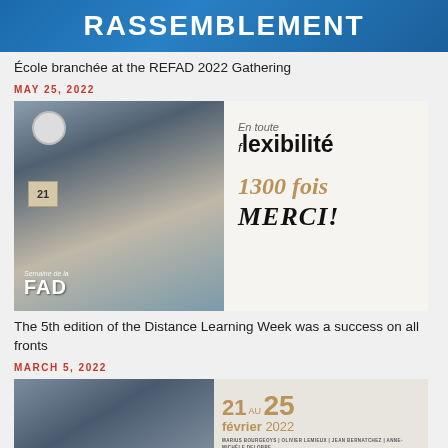[Figure (photo): Blue gradient banner with white uppercase text RASSEMBLEMENT]
École branchée at the REFAD 2022 Gathering
MAY 25, 2022
[Figure (photo): Split image: left half shows a man on phone in office setting with FAD logo overlay; right half shows white background with text 'En toute flexibilité 1300 fois MERCI!']
The 5th edition of the Distance Learning Week was a success on all fronts
MARCH 5, 2022
[Figure (photo): Split image: left shows man in blue shirt, right shows '21 AU 25 février 2022' in gold with names listed below]